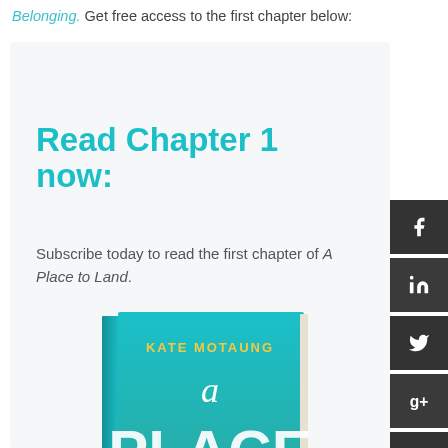Belonging. Get free access to the first chapter below:
Read Chapter 1 now:
Subscribe today to read the first chapter of A Place to Land.
[Figure (photo): Book cover of 'A Place to Land' by Kate Motaung, teal/turquoise gradient cover with white and yellow text]